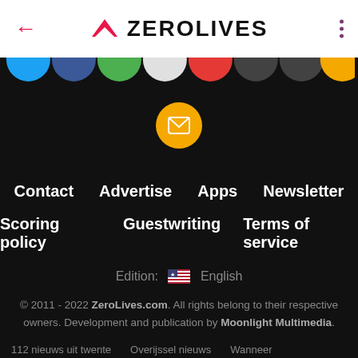← ZEROLIVES ⋮
[Figure (illustration): Row of partially visible colored circles (social media icons) at top of dark section, followed by a yellow circle with envelope/email icon in center]
Contact   Advertise   Apps   Newsletter
Scoring policy   Guestwriting   Terms of service
Edition: 🇺🇸 English
© 2011 - 2022 ZeroLives.com. All rights belong to their respective owners. Development and publication by Moonlight Multimedia.
112 nieuws uit twente   Overijssel nieuws   Wanneer